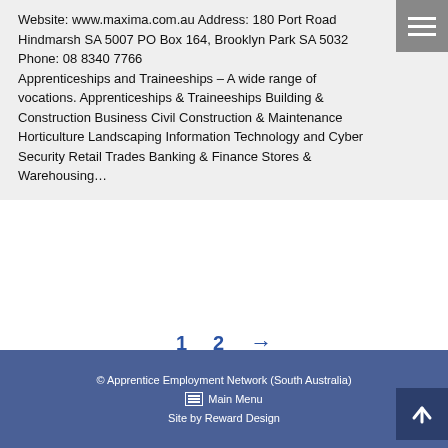Website: www.maxima.com.au Address: 180 Port Road Hindmarsh SA 5007 PO Box 164, Brooklyn Park SA 5032 Phone: 08 8340 7766 Apprenticeships and Traineeships – A wide range of vocations. Apprenticeships & Traineeships Building & Construction Business Civil Construction & Maintenance Horticulture Landscaping Information Technology and Cyber Security Retail Trades Banking & Finance Stores & Warehousing…
1  2  →
© Apprentice Employment Network (South Australia)
☰  Main Menu
Site by Reward Design